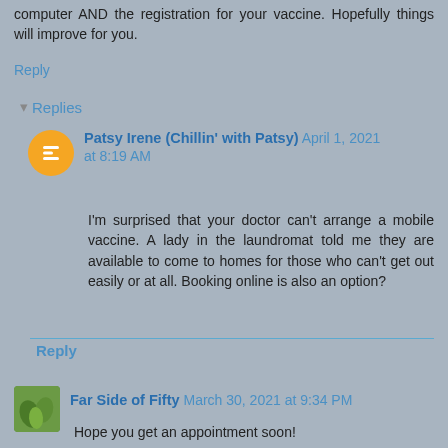computer AND the registration for your vaccine. Hopefully things will improve for you.
Reply
▾ Replies
Patsy Irene (Chillin' with Patsy) April 1, 2021 at 8:19 AM
I'm surprised that your doctor can't arrange a mobile vaccine. A lady in the laundromat told me they are available to come to homes for those who can't get out easily or at all. Booking online is also an option?
Reply
Far Side of Fifty March 30, 2021 at 9:34 PM
Hope you get an appointment soon!
Reply